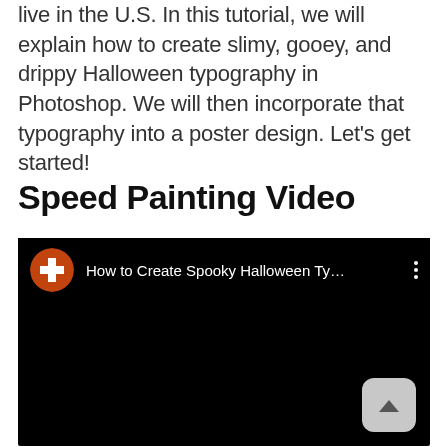live in the U.S. In this tutorial, we will explain how to create slimy, gooey, and drippy Halloween typography in Photoshop. We will then incorporate that typography into a poster design. Let's get started!
Speed Painting Video
[Figure (screenshot): Embedded YouTube video player showing a video titled 'How to Create Spooky Halloween Ty...' with a channel icon (orange/red circle with white cross), three-dot menu, and a dark/black video body. A scroll-up button (chevron) appears in the bottom right corner.]